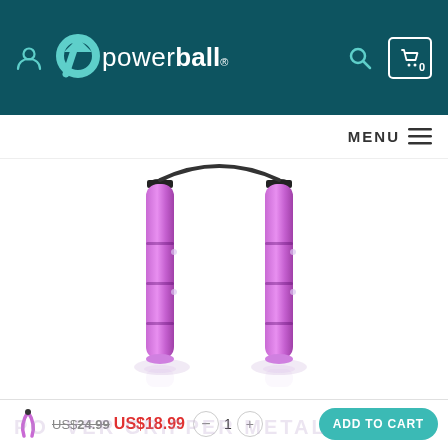powerball® — navigation header with user icon, logo, search, and cart (0)
MENU
[Figure (photo): Two purple anodized aluminum hand gripper handles (Powerball Gripper Metal) standing upright against a white background with reflections below.]
[Figure (photo): Small thumbnail of purple Powerball hand gripper product]
US$24.99  US$18.99
- 1 +
ADD TO CART
POWER GRIPPER METAL